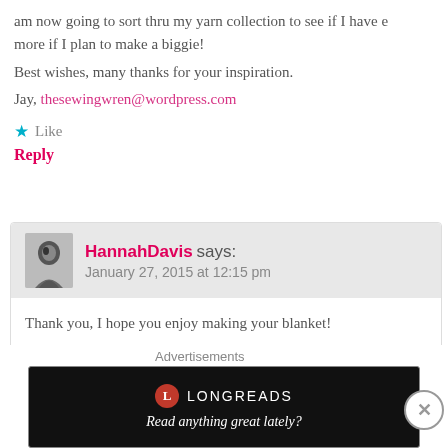am now going to sort thru my yarn collection to see if I have e more if I plan to make a biggie!
Best wishes, many thanks for your inspiration.
Jay, thesewingwren@wordpress.com
Like
Reply
HannahDavis says: January 27, 2015 at 12:15 pm
Thank you, I hope you enjoy making your blanket!
Liked by 1 person
Reply
Advertisements
[Figure (other): Longreads advertisement banner: black background with Longreads logo and text 'Read anything great lately?']